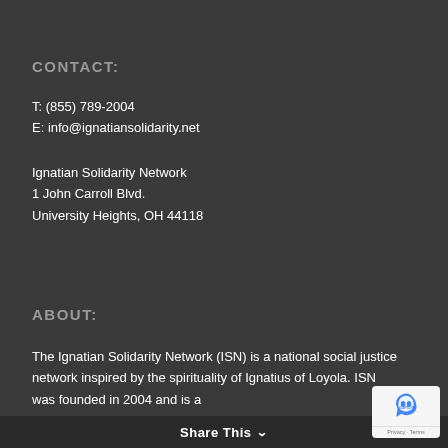CONTACT:
T: (855) 789-2004
E: info@ignatiansolidarity.net
Ignatian Solidarity Network
1 John Carroll Blvd.
University Heights, OH 44118
ABOUT:
The Ignatian Solidarity Network (ISN) is a national social justice network inspired by the spirituality of Ignatius of Loyola. ISN was founded in 2004 and is a
Share This